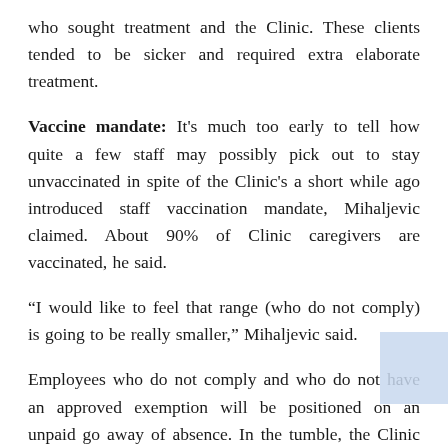who sought treatment and the Clinic. These clients tended to be sicker and required extra elaborate treatment.
Vaccine mandate: It's much too early to tell how quite a few staff may possibly pick out to stay unvaccinated in spite of the Clinic's a short while ago introduced staff vaccination mandate, Mihaljevic claimed. About 90% of Clinic caregivers are vaccinated, he said.
“I would like to feel that range (who do not comply) is going to be really smaller,” Mihaljevic said.
Employees who do not comply and who do not have an approved exemption will be positioned on an unpaid go away of absence. In the tumble, the Clinic reported it feared that a COVID-19 worker vaccine mandate would lead to employees leaving, building staffing shortages worse. The Clinic has observed employee attrition, but